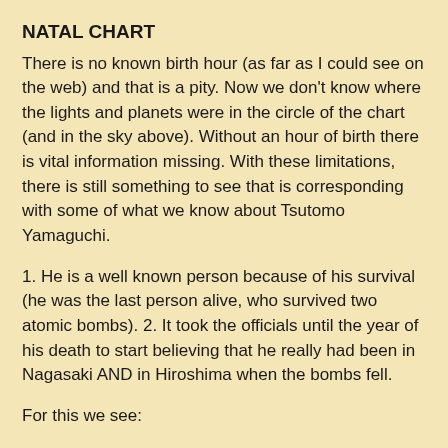NATAL CHART
There is no known birth hour (as far as I could see on the web) and that is a pity. Now we don't know where the lights and planets were in the circle of the chart (and in the sky above). Without an hour of birth there is vital information missing. With these limitations, there is still something to see that is corresponding with some of what we know about Tsutomo Yamaguchi.
1. He is a well known person because of his survival (he was the last person alive, who survived two atomic bombs). 2. It took the officials until the year of his death to start believing that he really had been in Nagasaki AND in Hiroshima when the bombs fell.
For this we see:
1. Sun is 'calling' (no Ptolemaic aspects in sign or orb 5 degrees). People with a not aspected Sun tend to draw attention, take the lead or be a 'star' somehow.
2. Mercury inconjunct Neptune. For some reason it is often